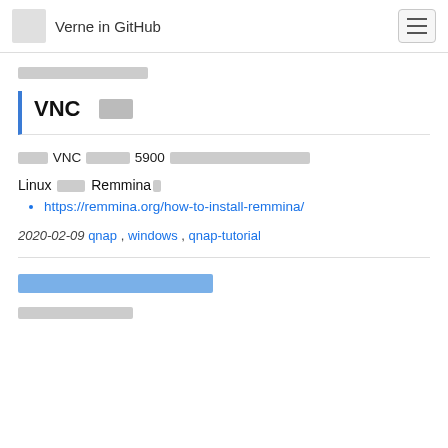Verne in GitHub
（breadcrumb navigation placeholder）
VNC 接続
インストールした VNC クライアントで 5900ポートを指定して接続をする。
Linux クライアント Remminaは:
https://remmina.org/how-to-install-remmina/
2020-02-09 qnap , windows , qnap-tutorial
（next article link placeholder）
（bottom text placeholder）